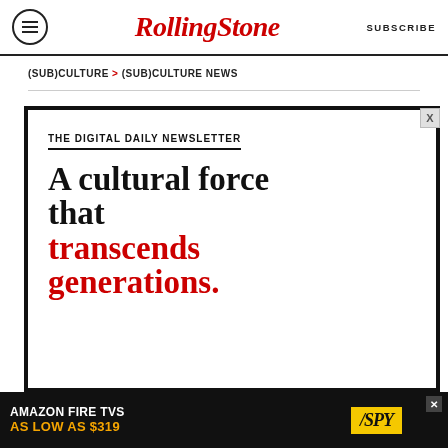RollingStone | SUBSCRIBE
(SUB)CULTURE > (SUB)CULTURE NEWS
THE DIGITAL DAILY NEWSLETTER
A cultural force that transcends generations.
[Figure (other): Amazon Fire TVs advertisement: AMAZON FIRE TVS AS LOW AS $319 | SPY logo]